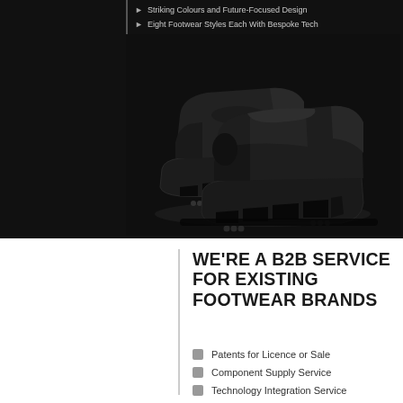Striking Colours and Future-Focused Design
Eight Footwear Styles Each With Bespoke Tech
[Figure (photo): Two black futuristic athletic shoes stacked on a dark background, featuring geometric chunky soles with small logo emblems]
WE'RE A B2B SERVICE FOR EXISTING FOOTWEAR BRANDS
Patents for Licence or Sale
Component Supply Service
Technology Integration Service